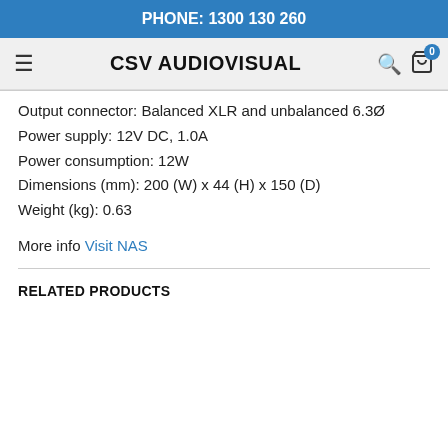PHONE: 1300 130 260
CSV AUDIOVISUAL
Output connector: Balanced XLR and unbalanced 6.3Ø
Power supply: 12V DC, 1.0A
Power consumption: 12W
Dimensions (mm): 200 (W) x 44 (H) x 150 (D)
Weight (kg): 0.63
More info Visit NAS
RELATED PRODUCTS